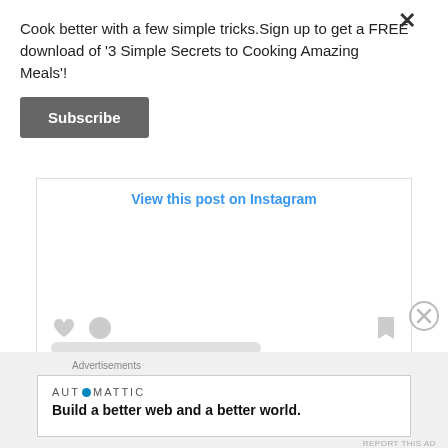Cook better with a few simple tricks.Sign up to get a FREE download of '3 Simple Secrets to Cooking Amazing Meals'!
[Figure (screenshot): Subscribe button popup overlay with close X button]
View this post on Instagram
[Figure (screenshot): Instagram embed placeholder with heart, comment, bookmark icons and grey placeholder text lines]
Advertisements
[Figure (screenshot): Automattic advertisement: Build a better web and a better world.]